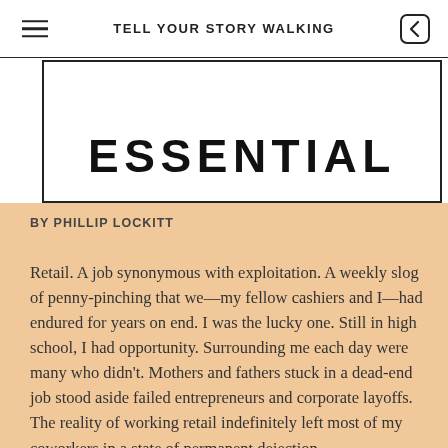TELL YOUR STORY WALKING
[Figure (illustration): Book cover showing the word ESSENTIAL in bold black letters inside a rectangular border frame, on a white background. Partial view cut off at top.]
BY PHILLIP LOCKITT
Retail. A job synonymous with exploitation. A weekly slog of penny-pinching that we—my fellow cashiers and I—had endured for years on end. I was the lucky one. Still in high school, I had opportunity. Surrounding me each day were many who didn't. Mothers and fathers stuck in a dead-end job stood aside failed entrepreneurs and corporate layoffs. The reality of working retail indefinitely left most of my coworkers in a state of permanent dejection.